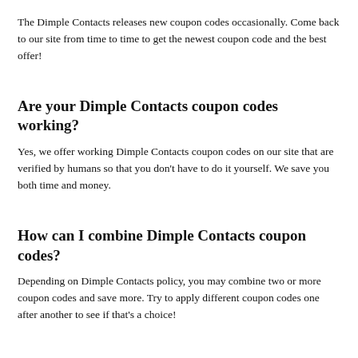The Dimple Contacts releases new coupon codes occasionally. Come back to our site from time to time to get the newest coupon code and the best offer!
Are your Dimple Contacts coupon codes working?
Yes, we offer working Dimple Contacts coupon codes on our site that are verified by humans so that you don't have to do it yourself. We save you both time and money.
How can I combine Dimple Contacts coupon codes?
Depending on Dimple Contacts policy, you may combine two or more coupon codes and save more. Try to apply different coupon codes one after another to see if that's a choice!
Are all Dimple Contacts coupon codes sitewide?
We endeavor to get our customers the best coupon codes